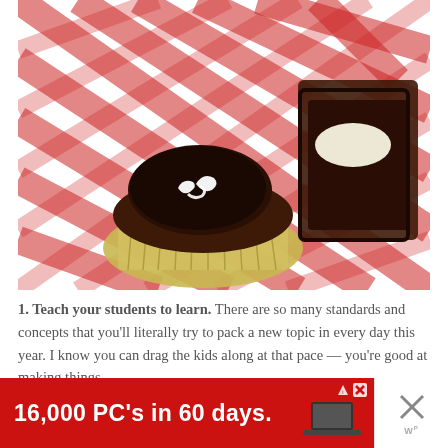[Figure (photo): A chocolate cupcake with white icing decoration on top, split open to show the interior with cream filling, sitting in a metallic foil wrapper on a red and white checkered cloth/tablecloth]
1. Teach your students to learn. There are so many standards and concepts that you'll literally try to pack a new topic in every day this year. I know you can drag the kids along at that pace — you're good at making things
[Figure (screenshot): Red advertisement banner reading '16,000 PC's in 60 days.' with a laptop image, AdChoices icon, and close button (X)]